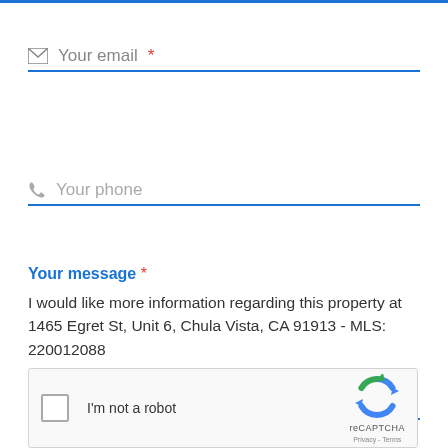Your email *
Your phone
Your message *
I would like more information regarding this property at 1465 Egret St,  Unit 6, Chula Vista, CA 91913 - MLS: 220012088
[Figure (screenshot): reCAPTCHA widget with checkbox and logo, showing 'I'm not a robot' and 'reCAPTCHA' label]